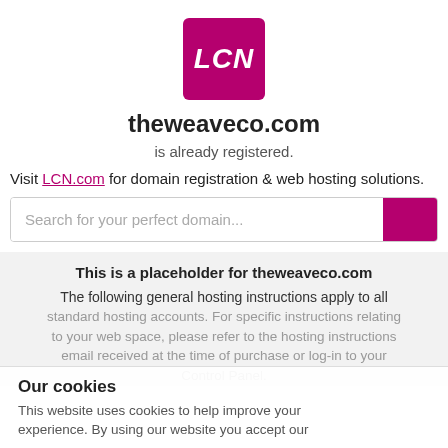[Figure (logo): LCN logo — pink/magenta square with white italic bold text 'LCN']
theweaveco.com
is already registered.
Visit LCN.com for domain registration & web hosting solutions.
[Figure (other): Search bar with placeholder text 'Search for your perfect domain...' and a pink/magenta search button]
This is a placeholder for theweaveco.com
The following general hosting instructions apply to all standard hosting accounts. For specific instructions relating to your web space, please refer to the hosting instructions email received at the time of purchase or log-in to your Control Panel.
Our cookies
This website uses cookies to help improve your experience. By using our website you accept our